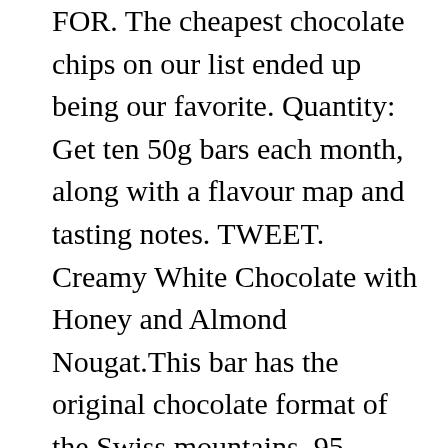FOR. The cheapest chocolate chips on our list ended up being our favorite. Quantity: Get ten 50g bars each month, along with a flavour map and tasting notes. TWEET. Creamy White Chocolate with Honey and Almond Nougat.This bar has the original chocolate format of the Swiss mountains. 95 ($0.36/Ounce) Get it as soon as Wed, Jan 13. Just follow these tips for success. Merckens Coating Melting Wafers White 5 pounds melting chocolate. SHARE. Expertly crafted by our Master Chocolatiers. Target may provide my personal information to service